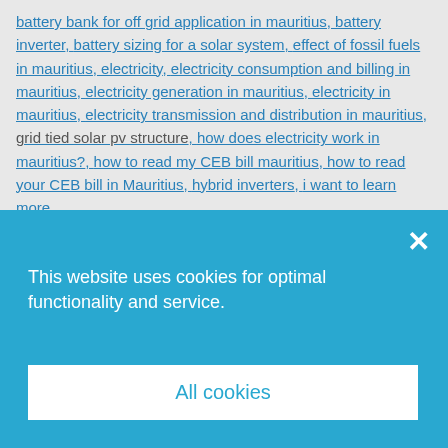battery bank for off grid application in mauritius, battery inverter, battery sizing for a solar system, effect of fossil fuels in mauritius, electricity, electricity consumption and billing in mauritius, electricity generation in mauritius, electricity in mauritius, electricity transmission and distribution in mauritius, grid tied solar pv structure, how does electricity work in mauritius?, how to read my CEB bill mauritius, how to read your CEB bill in Mauritius, hybrid inverters, i want to learn more
[Figure (screenshot): Cookie consent modal dialog with sky blue background showing 'This website uses cookies for optimal functionality and service.' text, an 'All cookies' white button, 'Deny' text button, and links to 'Cookie policy' and 'Privacy Policy'. A white X close button is in the top right corner.]